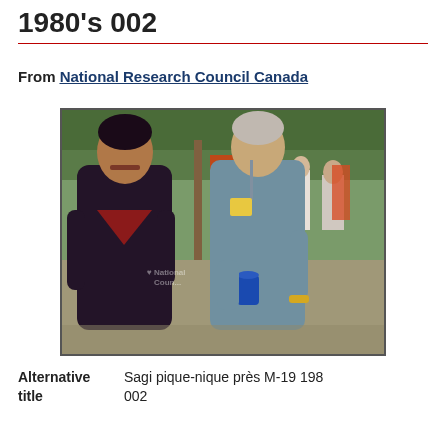1980's 002
From National Research Council Canada
[Figure (photo): Outdoor photograph of two men standing together at what appears to be a picnic or outdoor event. The man on the left wears a dark navy shirt with a maroon chevron design. The man on the right is older with grey hair, wearing a light blue short-sleeve button-up shirt and holding a blue plastic cup. Trees and orange banners visible in background, with other people in the background. National Research Council Canada watermark overlaid.]
Alternative title	Sagi pique-nique près M-19 1980's 002